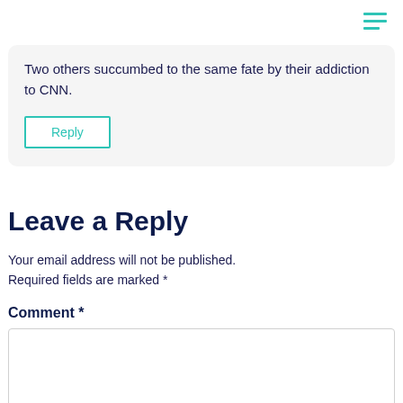[Figure (other): Hamburger menu icon with three horizontal teal lines, top right corner]
Two others succumbed to the same fate by their addiction to CNN.
Reply
Leave a Reply
Your email address will not be published. Required fields are marked *
Comment *